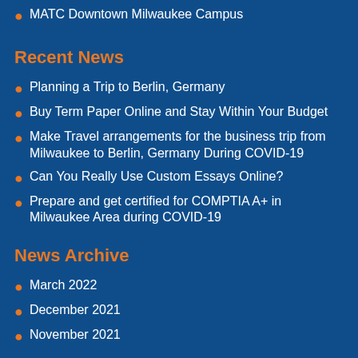MATC Downtown Milwaukee Campus
Recent News
Planning a Trip to Berlin, Germany
Buy Term Paper Online and Stay Within Your Budget
Make Travel arrangements for the business trip from Milwaukee to Berlin, Germany During COVID-19
Can You Really Use Custom Essays Online?
Prepare and get certified for COMPTIA A+ in Milwaukee Area during COVID-19
News Archive
March 2022
December 2021
November 2021